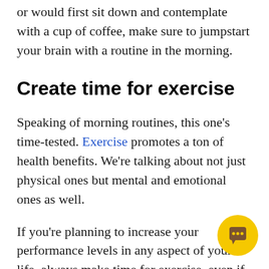or would first sit down and contemplate with a cup of coffee, make sure to jumpstart your brain with a routine in the morning.
Create time for exercise
Speaking of morning routines, this one's time-tested. Exercise promotes a ton of health benefits. We're talking about not just physical ones but mental and emotional ones as well.
If you're planning to increase your performance levels in any aspect of your life, always make time for exercise, even if you have to sneak it into your daily schedule